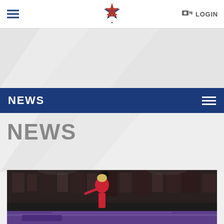Navigation bar with hamburger menu, USBC logo, and LOGIN button
[Figure (screenshot): Grey diagonal hero banner background]
NEWS
NEWS
[Figure (photo): Female bowler in red/blue jersey mid-delivery, holding bowling ball above her head with crowd watching in background]